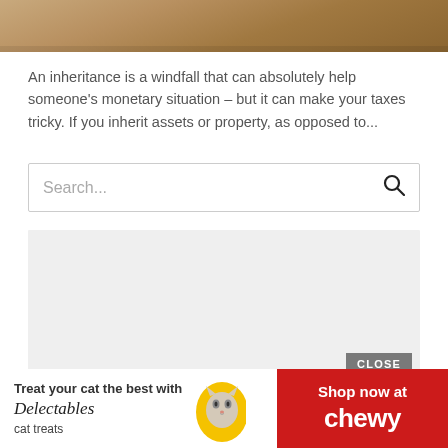[Figure (photo): Top portion of a photo showing a wooden surface with a document or folder, partially cropped]
An inheritance is a windfall that can absolutely help someone's monetary situation – but it can make your taxes tricky. If you inherit assets or property, as opposed to...
[Figure (screenshot): Search bar input field with placeholder text 'Search...' and a search icon on the right]
[Figure (other): Gray placeholder advertisement box with a CLOSE button in the lower right corner]
[Figure (other): Banner advertisement: 'Treat your cat the best with Delectables cat treats' on the left with a cat image, and 'Shop now at chewy' on a red background on the right]